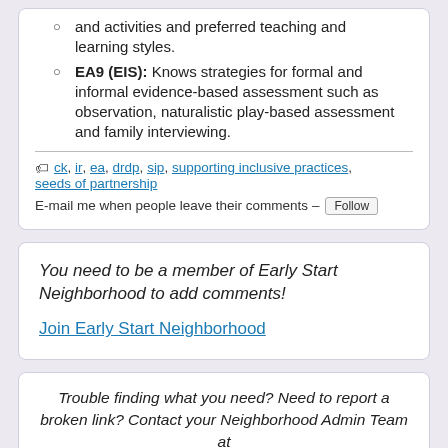and activities and preferred teaching and learning styles.
EA9 (EIS): Knows strategies for formal and informal evidence-based assessment such as observation, naturalistic play-based assessment and family interviewing.
ck, ir, ea, drdp, sip, supporting inclusive practices, seeds of partnership
E-mail me when people leave their comments – Follow
You need to be a member of Early Start Neighborhood to add comments!
Join Early Start Neighborhood
Trouble finding what you need? Need to report a broken link? Contact your Neighborhood Admin Team at esonlinehelp@wested.org